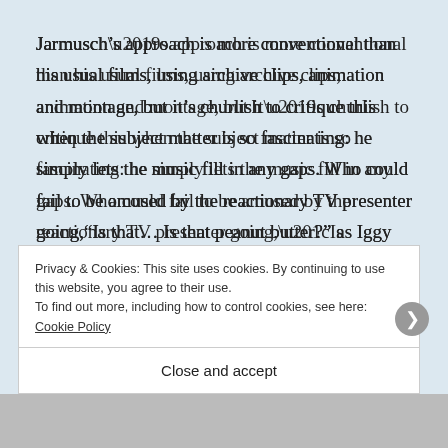Jarmusch’s approach is more conventional than his usual films, using archive clips, animation and montage, but it’s churlish to critique this when the subject matter is so fascinating: he simply lets the music fill in any gaps. Who could fail to be amused by the reactionary TV presenter going,“Is that… Is that peanut butter?” as Iggy smears that famous chest and torso with the spread, before hurling himself into the crowd during a famous gig.
Privacy & Cookies: This site uses cookies. By continuing to use this website, you agree to their use.
To find out more, including how to control cookies, see here: Cookie Policy
Close and accept